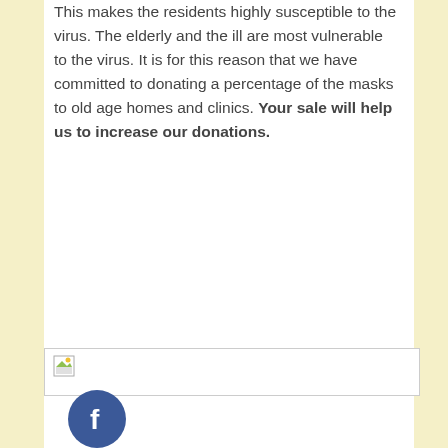This makes the residents highly susceptible to the virus. The elderly and the ill are most vulnerable to the virus. It is for this reason that we have committed to donating a percentage of the masks to old age homes and clinics. Your sale will help us to increase our donations.
[Figure (illustration): Broken image placeholder with small image icon]
[Figure (logo): Facebook circular logo icon, dark blue with white f]